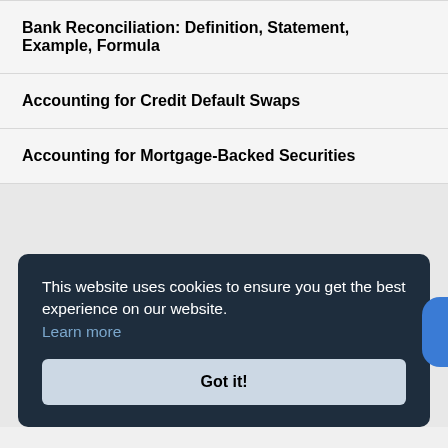Bank Reconciliation: Definition, Statement, Example, Formula
Accounting for Credit Default Swaps
Accounting for Mortgage-Backed Securities
This website uses cookies to ensure you get the best experience on our website. Learn more
Got it!